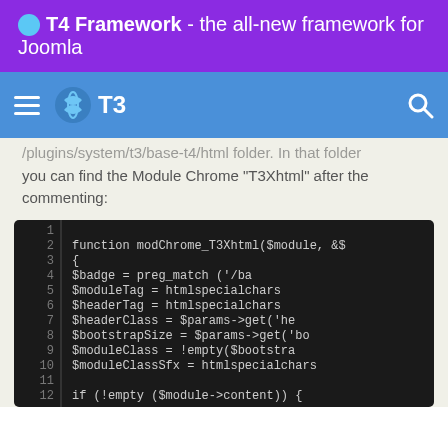🔵 T4 Framework - the all-new framework for Joomla
/plugins/system/t3/base-t4/html folder. In that folder you can find the Module Chrome "T3Xhtml" after the commenting:
[Figure (screenshot): Code block showing PHP function modChrome_T3Xhtml with line numbers 1-12+, dark background. Lines include: function modChrome_T3Xhtml($module, &$... / { / $badge = preg_match('/ba... / $moduleTag = htmlspecialchars... / $headerTag = htmlspecialchars... / $headerClass = $params->get('he... / $bootstrapSize = $params->get('bo... / $moduleClass = !empty($bootstra... / $moduleClassSfx = htmlspecialchars... / if (!empty ($module->content)) {]